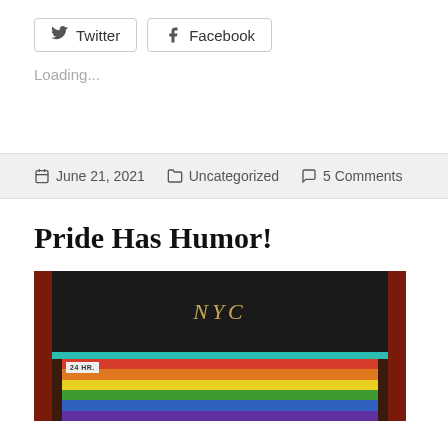Twitter
Facebook
Loading...
June 21, 2021   Uncategorized   5 Comments
Pride Has Humor!
[Figure (photo): A rainbow pride flag displayed in a shop window or doorway framed in red wood, with a black chalkboard sign reading 'NYC' above, a teal bar separator, and a sign reading '24 HR.' The flag shows all six rainbow stripes (red, orange, yellow, green, blue, purple). Cork board or brick visible on the sides.]